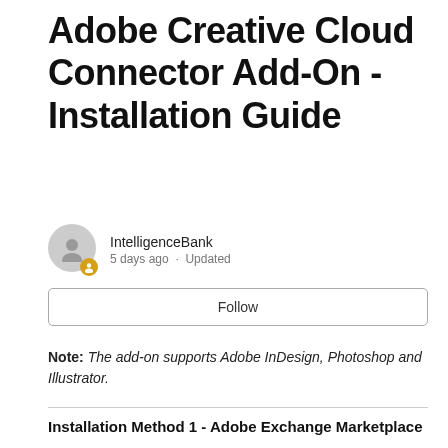Adobe Creative Cloud Connector Add-On - Installation Guide
IntelligenceBank
5 days ago · Updated
Follow
Note: The add-on supports Adobe InDesign, Photoshop and Illustrator.
Installation Method 1 - Adobe Exchange Marketplace